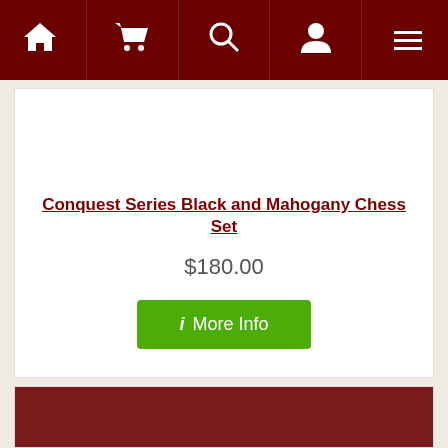Navigation bar with home, cart, search, account, menu icons
Conquest Series Black and Mahogany Chess Set
$180.00
ⓘ More Info
[Figure (screenshot): Second product card partially visible at bottom, showing dark red/mahogany background image area]